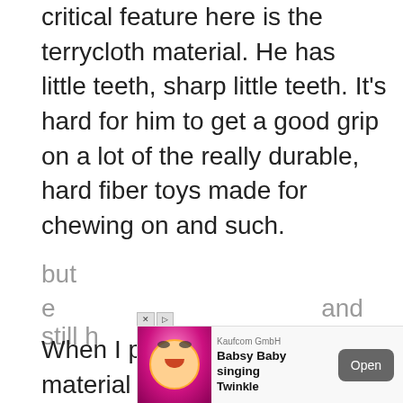critical feature here is the terrycloth material. He has little teeth, sharp little teeth. It's hard for him to get a good grip on a lot of the really durable, hard fiber toys made for chewing on and such.
When I pull on the harder material toys, they just slip out of his mouth.  Tug of war is impossible with them. The sandals are a different story.  With the terrycloth, thin rope like Sandal, he can really get a grip on!  So we can go at it... not too hard, he's a puppy, but enough that he can really kill his wrist and still have fun.
[Figure (other): Advertisement overlay: Kaufcom GmbH - Babsy Baby singing Twinkle, with Open button]